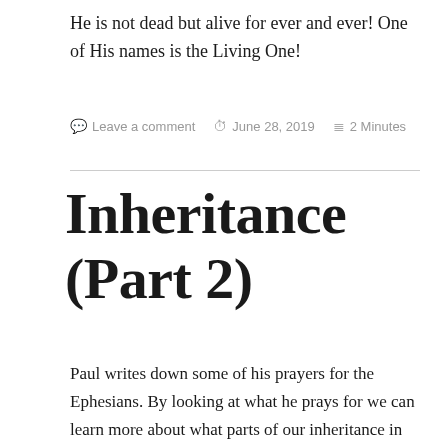He is not dead but alive for ever and ever! One of His names is the Living One!
Leave a comment  June 28, 2019  2 Minutes
Inheritance (Part 2)
Paul writes down some of his prayers for the Ephesians. By looking at what he prays for we can learn more about what parts of our inheritance in Christ are available to us now. These things that Paul